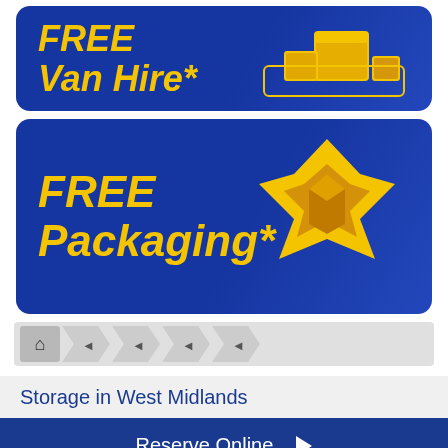[Figure (infographic): Blue rounded banner with yellow bold italic text 'FREE Van Hire*' and yellow van/box icons on right]
[Figure (infographic): Blue rounded banner with yellow bold italic text 'FREE Packaging*' and yellow open box/packaging icon on right]
[Figure (infographic): Breadcrumb navigation bar with home icon and arrow chevron shapes in grey]
Storage in West Midlands
Reserve Online ▶
Quick Quote ▶